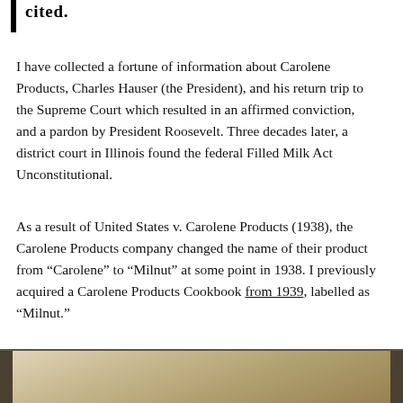cited.
I have collected a fortune of information about Carolene Products, Charles Hauser (the President), and his return trip to the Supreme Court which resulted in an affirmed conviction, and a pardon by President Roosevelt. Three decades later, a district court in Illinois found the federal Filled Milk Act Unconstitutional.
As a result of United States v. Carolene Products (1938), the Carolene Products company changed the name of their product from “Carolene” to “Milnut” at some point in 1938. I previously acquired a Carolene Products Cookbook from 1939, labelled as “Milnut.”
[Figure (photo): Partial view of a photograph at the bottom of the page, appearing to show aged or vintage items with brown/tan tones.]